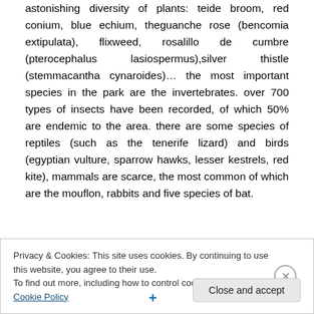astonishing diversity of plants: teide broom, red conium, blue echium, theguanche rose (bencomia extipulata), flixweed, rosalillo de cumbre (pterocephalus lasiospermus),silver thistle (stemmacantha cynaroides)... the most important species in the park are the invertebrates. over 700 types of insects have been recorded, of which 50% are endemic to the area. there are some species of reptiles (such as the tenerife lizard) and birds (egyptian vulture, sparrow hawks, lesser kestrels, red kite), mammals are scarce, the most common of which are the mouflon, rabbits and five species of bat.
Privacy & Cookies: This site uses cookies. By continuing to use this website, you agree to their use.
To find out more, including how to control cookies, see here: Cookie Policy